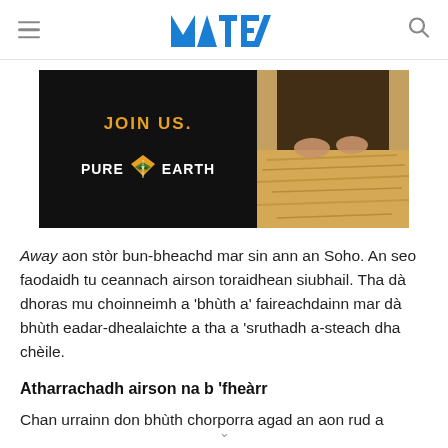MTE logo, hamburger menu, search icon
[Figure (infographic): Advertisement banner for Pure Earth with 'JOIN US.' text in orange on black background left side, and hands working with straw/natural material on right side]
Away aon stòr bun-bheachd mar sin ann an Soho. An seo faodaidh tu ceannach airson toraidhean siubhail. Tha dà dhoras mu choinneimh a 'bhùth a' faireachdainn mar dà bhùth eadar-dhealaichte a tha a 'sruthadh a-steach dha chèile.
Atharrachadh airson na b 'fheàrr
Chan urrainn don bhùth chorporra agad an aon rud a